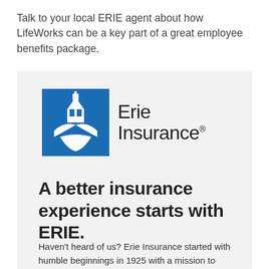Talk to your local ERIE agent about how LifeWorks can be a key part of a great employee benefits package.
[Figure (logo): Erie Insurance logo: blue square with white building/eagle graphic on the left, and 'Erie Insurance®' text on the right in dark gray]
A better insurance experience starts with ERIE.
Haven't heard of us? Erie Insurance started with humble beginnings in 1925 with a mission to